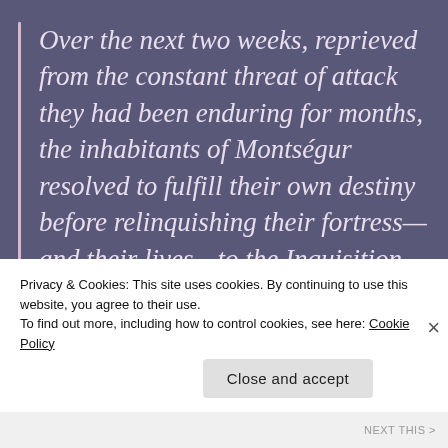Over the next two weeks, reprieved from the constant threat of attack they had been enduring for months, the inhabitants of Montségur resolved to fulfill their own destiny before relinquishing their fortress—and their lives—to the Inquisition.
On the last day of the truce, as if guided collectively by a single will on a
Privacy & Cookies: This site uses cookies. By continuing to use this website, you agree to their use.
To find out more, including how to control cookies, see here: Cookie Policy
Close and accept